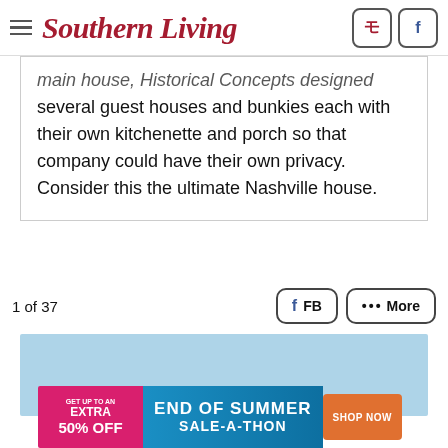Southern Living
main house, Historical Concepts designed several guest houses and bunkies each with their own kitchenette and porch so that company could have their own privacy. Consider this the ultimate Nashville house.
1 of 37
[Figure (other): Light blue advertisement placeholder rectangle]
[Figure (other): End of Summer Sale-A-Thon banner advertisement with pink/blue gradient, orange Shop Now button. Text: GET UP TO AN EXTRA 50% OFF | END OF SUMMER SALE-A-THON | SHOP NOW]